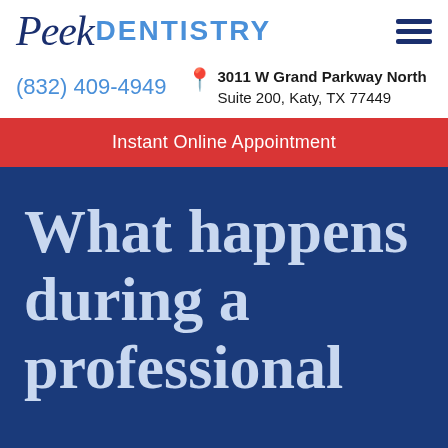[Figure (logo): Peek Dentistry logo with script 'Peek' in dark navy and 'DENTISTRY' in blue sans-serif, plus hamburger menu icon]
(832) 409-4949    3011 W Grand Parkway North Suite 200, Katy, TX 77449
Instant Online Appointment
What happens during a professional